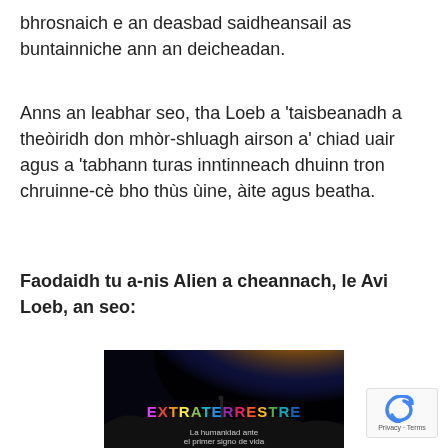bhrosnaich e an deasbad saidheansail as buntainniche ann an deicheadan.
Anns an leabhar seo, tha Loeb a 'taisbeanadh a theòiridh don mhòr-shluagh airson a' chiad uair agus a 'tabhann turas inntinneach dhuinn tron chruinne-cè bho thùs ùine, àite agus beatha.
Faodaidh tu a-nis Alien a cheannach, le Avi Loeb, an seo:
[Figure (photo): Book cover for 'Extraterrestre' by Avi Loeb showing a person silhouetted against a colorful galaxy arc on a dark background, with the title EXTRATERRESTRE in multicolored text and subtitle 'La humanidad ante el primer signo de vida']